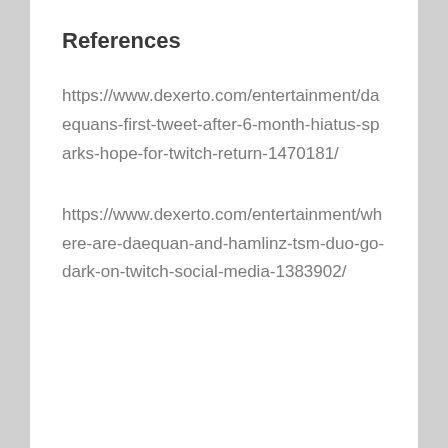References
https://www.dexerto.com/entertainment/daequans-first-tweet-after-6-month-hiatus-sparks-hope-for-twitch-return-1470181/
https://www.dexerto.com/entertainment/where-are-daequan-and-hamlinz-tsm-duo-go-dark-on-twitch-social-media-1383902/